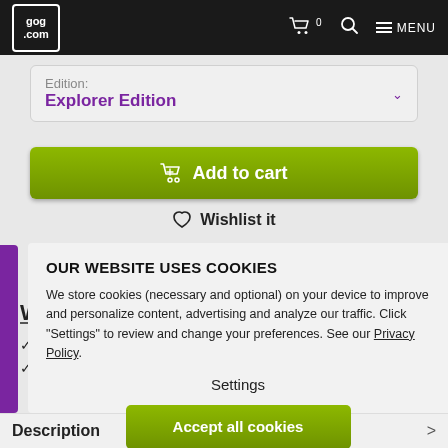GOG.COM — Navigation bar with cart, search, and menu
Edition: Explorer Edition
Add to cart
Wishlist it
OUR WEBSITE USES COOKIES
We store cookies (necessary and optional) on your device to improve and personalize content, advertising and analyze our traffic. Click "Settings" to review and change your preferences. See our Privacy Policy.
Settings
Accept all cookies
Description